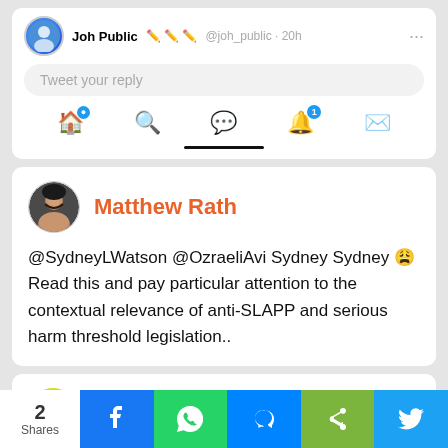[Figure (screenshot): Top portion of Twitter app UI showing Joh Public header, reply box, and bottom navigation bar with home indicator]
@SydneyLWatson @OzraeliAvi Sydney Sydney 😩 Read this and pay particular attention to the contextual relevance of anti-SLAPP and serious harm threshold legislation..
[Figure (screenshot): PR Guy profile card header]
[Figure (screenshot): Share bar with 2 Shares count and social media buttons: Facebook, WhatsApp, Messenger, Share, Twitter]